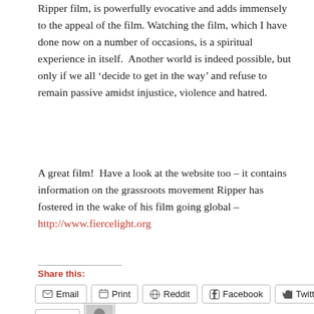Ripper film, is powerfully evocative and adds immensely to the appeal of the film. Watching the film, which I have done now on a number of occasions, is a spiritual experience in itself.  Another world is indeed possible, but only if we all 'decide to get in the way' and refuse to remain passive amidst injustice, violence and hatred.
A great film!  Have a look at the website too – it contains information on the grassroots movement Ripper has fostered in the wake of his film going global – http://www.fiercelight.org
Share this:
Email | Print | Reddit | Facebook | Twitter
Like